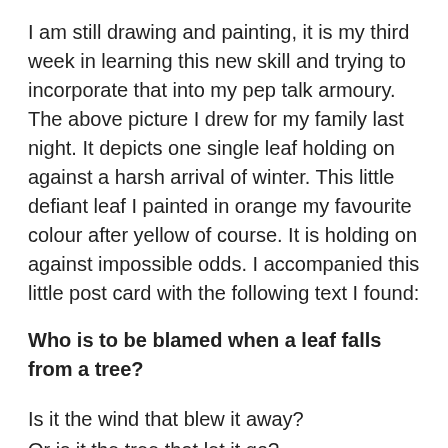I am still drawing and painting, it is my third week in learning this new skill and trying to incorporate that into my pep talk armoury. The above picture I drew for my family last night. It depicts one single leaf holding on against a harsh arrival of winter. This little defiant leaf I painted in orange my favourite colour after yellow of course. It is holding on against impossible odds. I accompanied this little post card with the following text I found:
Who is to be blamed when a leaf falls from a tree?
Is it the wind that blew it away?
Or is it the tree that let it go?
Or is it the leaf who grew tired of holding on?
Life is full of misunderstandings, everyday, every…